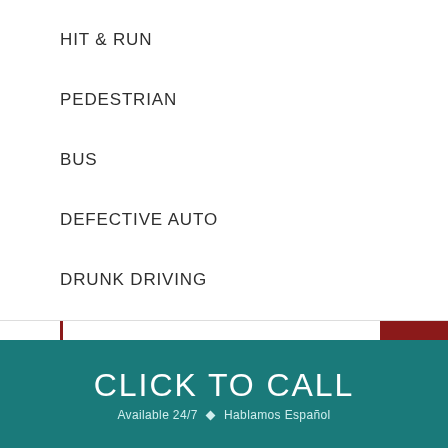HIT & RUN
PEDESTRIAN
BUS
DEFECTIVE AUTO
DRUNK DRIVING
PERSONAL INJURY
CLICK TO CALL
Available 24/7 ◆ Hablamos Español